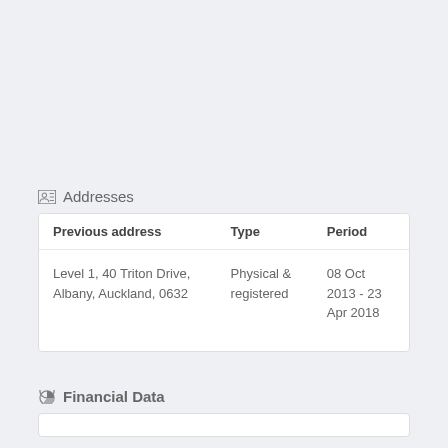Addresses
| Previous address | Type | Period |
| --- | --- | --- |
| Level 1, 40 Triton Drive, Albany, Auckland, 0632 | Physical & registered | 08 Oct 2013 - 23 Apr 2018 |
Financial Data